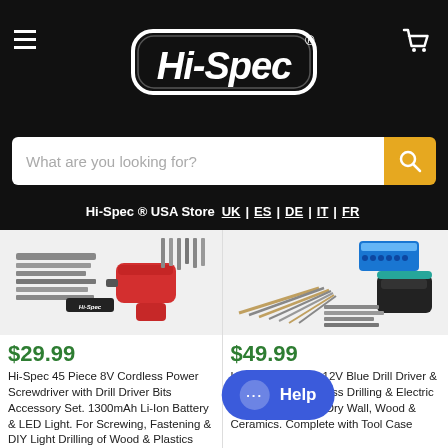Hi-Spec
What are you looking for?
Hi-Spec ® USA Store UK | ES | DE | IT | FR
[Figure (photo): Hi-Spec 45 Piece 8V Cordless Power Screwdriver with drill bits set - red cordless drill with accessories]
$29.99
Hi-Spec 45 Piece 8V Cordless Power Screwdriver with Drill Driver Bits Accessory Set. 1300mAh Li-Ion Battery & LED Light. For Screwing, Fastening & DIY Light Drilling of Wood & Plastics
[Figure (photo): Hi-Spec 50 Piece 12V Blue Drill Driver and Multi Bit Set with drill bits and accessories]
$49.99
Hi-Spec 50 Piece 12V Blue Drill Driver & Multi Bit Set. Cordless Drilling & Electri Drilling for Metals, Dry Wall, Wood & Ceramics. Complete with Tool Case